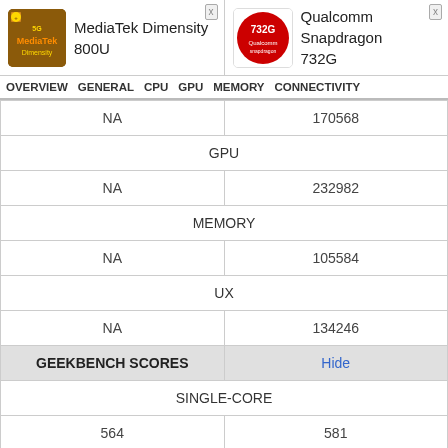[Figure (logo): MediaTek Dimensity 800U chip logo - orange/brown square with MediaTek branding]
MediaTek Dimensity 800U
[Figure (logo): Qualcomm Snapdragon 732G chip logo - red circle with 732G text]
Qualcomm Snapdragon 732G
| MediaTek Dimensity 800U | Qualcomm Snapdragon 732G |
| --- | --- |
| NA | 170568 |
| GPU | GPU |
| NA | 232982 |
| MEMORY | MEMORY |
| NA | 105584 |
| UX | UX |
| NA | 134246 |
| GEEKBENCH SCORES | Hide |
| SINGLE-CORE | SINGLE-CORE |
| 564 | 581 |